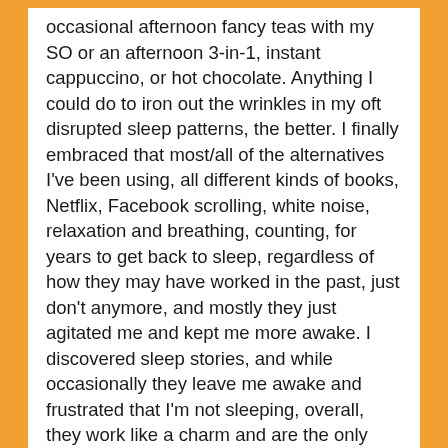occasional afternoon fancy teas with my SO or an afternoon 3-in-1, instant cappuccino, or hot chocolate. Anything I could do to iron out the wrinkles in my oft disrupted sleep patterns, the better. I finally embraced that most/all of the alternatives I've been using, all different kinds of books, Netflix, Facebook scrolling, white noise, relaxation and breathing, counting, for years to get back to sleep, regardless of how they may have worked in the past, just don't anymore, and mostly they just agitated me and kept me more awake. I discovered sleep stories, and while occasionally they leave me awake and frustrated that I'm not sleeping, overall, they work like a charm and are the only thing I turn to anymore to slip smoothly back into the Land of Nod. I saw melatonin gummies on sale and decided on a whim to give them another try and have been delightfully satisfied with the results. While I consider it more as a luxury possibility to reset the appetite...